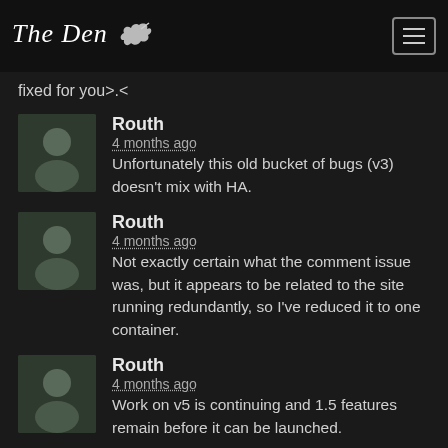The Den
fixed for you>.<
Routh
4 months ago
Unfortunately this old bucket of bugs (v3) doesn't mix with HA.
Routh
4 months ago
Not exactly certain what the comment issue was, but it appears to be related to the site running redundantly, so I've reduced it to one container.
Routh
4 months ago
Work on v5 is continuing and 1.5 features remain before it can be launched.